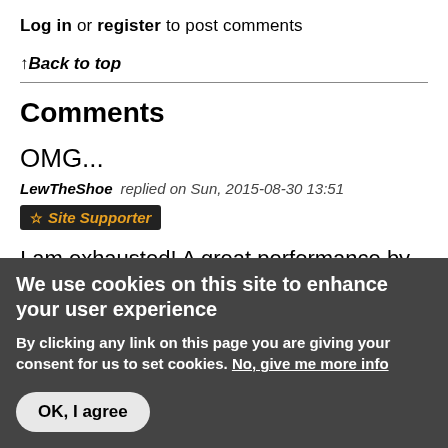Log in or register to post comments
↑Back to top
Comments
OMG...
LewTheShoe replied on Sun, 2015-08-30 13:51  ☆ Site Supporter
I am exhausted! A great performance by the podium three!
We use cookies on this site to enhance your user experience
By clicking any link on this page you are giving your consent for us to set cookies. No, give me more info
OK, I agree